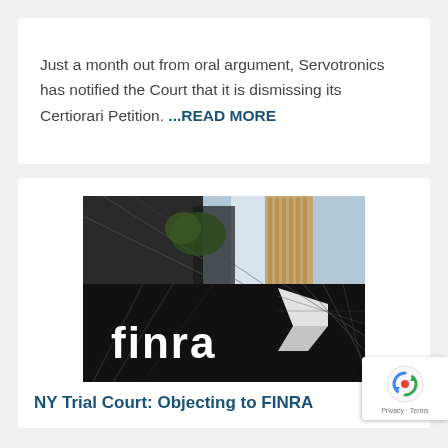Just a month out from oral argument, Servotronics has notified the Court that it is dismissing its Certiorari Petition. ...READ MORE
[Figure (photo): Photograph of the FINRA building sign with city skyscrapers in the background, showing white FINRA logo on a dark facade]
NY Trial Court: Objecting to FINRA